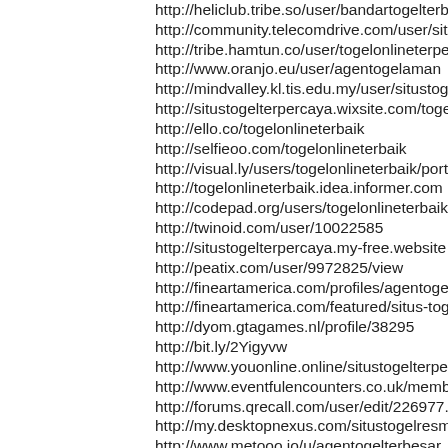http://heliclub.tribe.so/user/bandartogelterbaik
http://community.telecomdrive.com/user/situstogelterbest
http://tribe.hamtun.co/user/togelonlineterpercaya
http://www.oranjo.eu/user/agentogelaman
http://mindvalley.kl.tis.edu.my/user/situstogelterpercaya
http://situstogelterpercaya.wixsite.com/togelonlineterbaik
http://ello.co/togelonlineterbaik
http://selfieoo.com/togelonlineterbaik
http://visual.ly/users/togelonlineterbaik/portfolio
http://togelonlineterbaik.idea.informer.com
http://codepad.org/users/togelonlineterbaik
http://twinoid.com/user/10022585
http://situstogelterpercaya.my-free.website
http://peatix.com/user/9972825/view
http://fineartamerica.com/profiles/agentogel-terpercaya
http://fineartamerica.com/featured/situs-togel-terpercaya
http://dyom.gtagames.nl/profile/38295
http://bit.ly/2Yigyvw
http://www.youonline.online/situstogelterpercaya
http://www.eventfulencounters.co.uk/member/profile_ag
http://forums.qrecall.com/user/edit/226977.page
http://my.desktopnexus.com/situstogelresmi
http://www.metooo.io/u/agentogelterbesar
http://medium.com/@agentogelterbaik/about